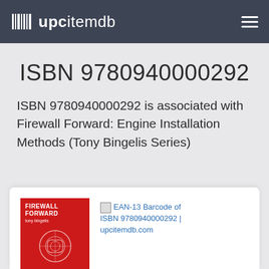upcitemdb
ISBN 9780940000292
ISBN 9780940000292 is associated with Firewall Forward: Engine Installation Methods (Tony Bingelis Series)
[Figure (photo): Book cover of Firewall Forward by Tony Bingelis, red cover with white emblem]
EAN-13 Barcode of ISBN 9780940000292 | upcitemdb.com